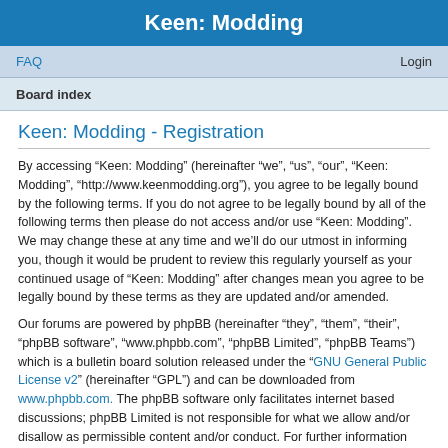Keen: Modding
FAQ   Login
Board index
Keen: Modding - Registration
By accessing “Keen: Modding” (hereinafter “we”, “us”, “our”, “Keen: Modding”, “http://www.keenmodding.org”), you agree to be legally bound by the following terms. If you do not agree to be legally bound by all of the following terms then please do not access and/or use “Keen: Modding”. We may change these at any time and we’ll do our utmost in informing you, though it would be prudent to review this regularly yourself as your continued usage of “Keen: Modding” after changes mean you agree to be legally bound by these terms as they are updated and/or amended.
Our forums are powered by phpBB (hereinafter “they”, “them”, “their”, “phpBB software”, “www.phpbb.com”, “phpBB Limited”, “phpBB Teams”) which is a bulletin board solution released under the “GNU General Public License v2” (hereinafter “GPL”) and can be downloaded from www.phpbb.com. The phpBB software only facilitates internet based discussions; phpBB Limited is not responsible for what we allow and/or disallow as permissible content and/or conduct. For further information about phpBB, please see: https://www.phpbb.com/.